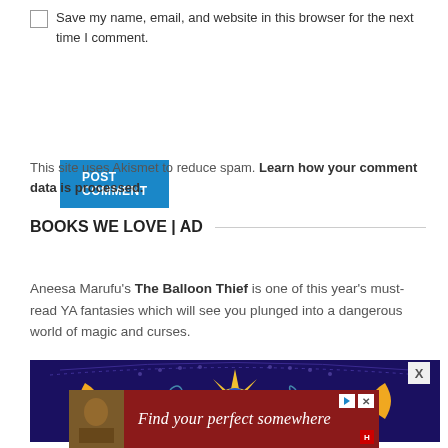Save my name, email, and website in this browser for the next time I comment.
POST COMMENT
This site uses Akismet to reduce spam. Learn how your comment data is processed.
BOOKS WE LOVE | AD
Aneesa Marufu's The Balloon Thief is one of this year's must-read YA fantasies which will see you plunged into a dangerous world of magic and curses.
[Figure (illustration): Dark blue/purple decorative book cover art featuring a mystical eye with a star/sun halo, crescent moons on each side, and ornate floral patterns]
[Figure (screenshot): Red advertisement banner reading 'Find your perfect somewhere' with play and close buttons]